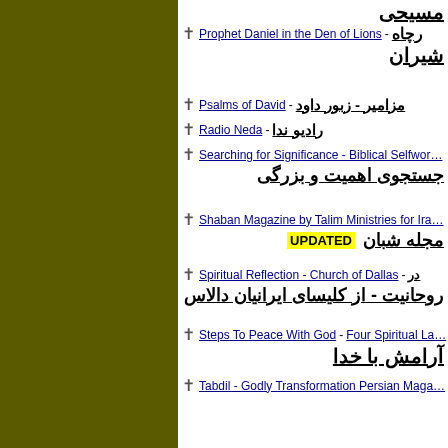مسیحی - Prophet Daniel in the Den of Lions - رچاه شیران
Psalms of David - مزامیر - زبور داود
Radio Neda - رادیو ندا
Searching for Significance - Biblical Selfworth - جستجوی اهمیت و بزرگی
Shaban Magazine by Talim Ministries for Iran - مجله شبان UPDATED
Spiritual Reflection - Church of Dallas - در روحانیت - از کلیسای ایرانیان دالاس
Steps To Peace With God - Four Spiritual Laws - آرامش با خدا
Tabdil - Godly Transformation Persian Magazine - تبدیل
TALIM Ministries - موسسه تعلیم
Testimony of an Opium Addict meeting Jesus - معتاد
The Search for Messiah - جستجوی ماشیح